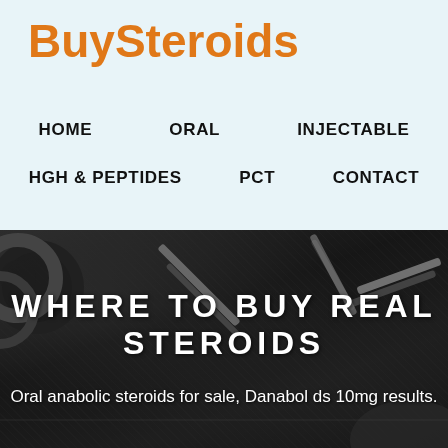BuySteroids
HOME
ORAL
INJECTABLE
HGH & PEPTIDES
PCT
CONTACT
[Figure (photo): Black and white photo of gym equipment (barbells and weights on a dark rubber floor), with large bold white text overlay reading WHERE TO BUY REAL STEROIDS and subtitle Oral anabolic steroids for sale, Danabol ds 10mg results.]
WHERE TO BUY REAL STEROIDS
Oral anabolic steroids for sale, Danabol ds 10mg results.